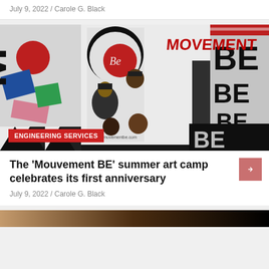July 9, 2022 / Carole G. Black
[Figure (photo): Colorful mural on a building exterior featuring painted portraits of Black youth and graduates with 'BE' and 'MOVEMENT BE' lettering. A red badge reading 'ENGINEERING SERVICES' is overlaid at the bottom left.]
The 'Mouvement BE' summer art camp celebrates its first anniversary
July 9, 2022 / Carole G. Black
[Figure (photo): Bottom strip showing the beginning of another photo with a warm brown/gold gradient]